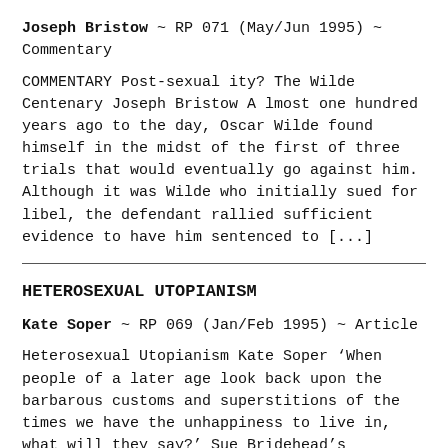Joseph Bristow ~ RP 071 (May/Jun 1995) ~ Commentary
COMMENTARY Post-sexual ity? The Wilde Centenary Joseph Bristow A lmost one hundred years ago to the day, Oscar Wilde found himself in the midst of the first of three trials that would eventually go against him. Although it was Wilde who initially sued for libel, the defendant rallied sufficient evidence to have him sentenced to [...]
HETEROSEXUAL UTOPIANISM
Kate Soper ~ RP 069 (Jan/Feb 1995) ~ Article
Heterosexual Utopianism Kate Soper ‘When people of a later age look back upon the barbarous customs and superstitions of the times we have the unhappiness to live in, what will they say?’ Sue Bridehead’s question – or rather exclamation – in Jude the Obscure – is, of course,